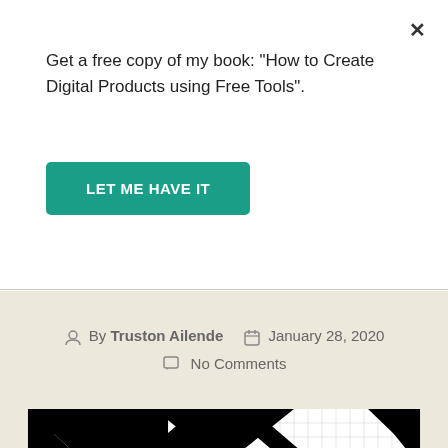Get a free copy of my book: "How to Create Digital Products using Free Tools".
LET ME HAVE IT
By Truston Ailende   January 28, 2020   No Comments
[Figure (other): Grid-based black zigzag/chevron pattern on white graph paper with a vertical red line in the center]